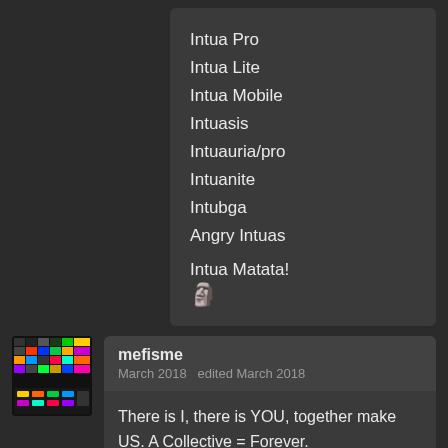Intua Pro
Intua Lite
Intua Mobile
Intuasis
Intuauria/pro
Intuanite
Intubga
Angry Intuas
Intua Matata!
[troll face emoji]
mefisme
March 2018   edited March 2018
There is I, there is YOU, together make US. A Collective = Forever.
We have the vision...